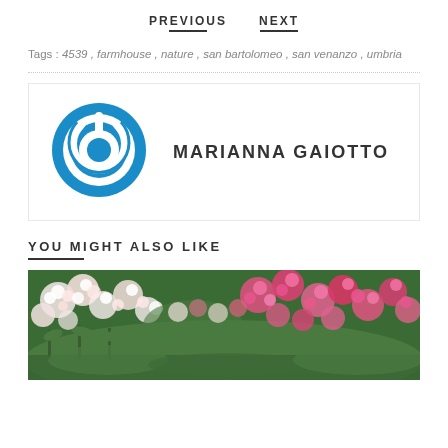PREVIOUS   NEXT
Tags : 4539 , farmhouse , nature , san bartolomeo , san venanzo , umbria
[Figure (logo): Blue circular power button logo next to MARIANNA GAIOTTO text in an author box with border]
YOU MIGHT ALSO LIKE
[Figure (photo): Garden photo showing clusters of pink and white flowers (roses) against green foliage]